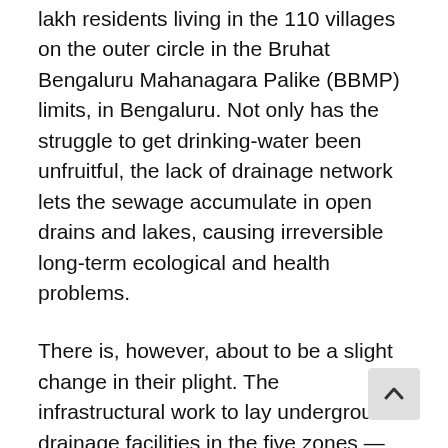lakh residents living in the 110 villages on the outer circle in the Bruhat Bengaluru Mahanagara Palike (BBMP) limits, in Bengaluru. Not only has the struggle to get drinking-water been unfruitful, the lack of drainage network lets the sewage accumulate in open drains and lakes, causing irreversible long-term ecological and health problems.
There is, however, about to be a slight change in their plight. The infrastructural work to lay underground drainage facilities in the five zones — Mahadevapura, Byatarayanapura, Bommanahalli, Dasarahalli and RR Nagar — officially commenced on March 15, 2018 and March 19, 2018 respectively. A progress-review report presented during a meeting at the Bangalore Water Supply and Sewerage Board (BWSSB) head office on May 26, 2018 says that 36 months is the timeline to complete building the sewerage system for the 225 ag...